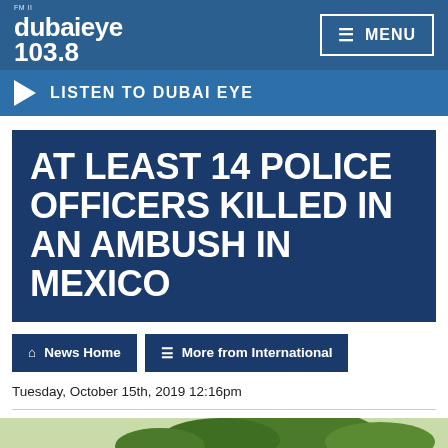Dubai Eye 103.8 | MENU
LISTEN TO DUBAI EYE
AT LEAST 14 POLICE OFFICERS KILLED IN AN AMBUSH IN MEXICO
News Home
More from International
Tuesday, October 15th, 2019 12:16pm
[Figure (photo): Outdoor scene with trees and a rooftop visible, partially cropped at the bottom of the page]